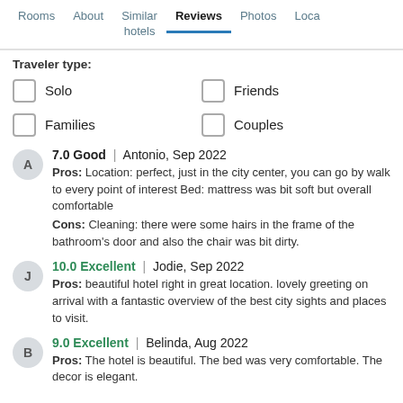Rooms | About | Similar hotels | Reviews | Photos | Loca
Traveler type:
Solo
Friends
Families
Couples
7.0 Good | Antonio, Sep 2022
Pros: Location: perfect, just in the city center, you can go by walk to every point of interest Bed: mattress was bit soft but overall comfortable
Cons: Cleaning: there were some hairs in the frame of the bathroom's door and also the chair was bit dirty.
10.0 Excellent | Jodie, Sep 2022
Pros: beautiful hotel right in great location. lovely greeting on arrival with a fantastic overview of the best city sights and places to visit.
9.0 Excellent | Belinda, Aug 2022
Pros: The hotel is beautiful. The bed was very comfortable. The decor is elegant.